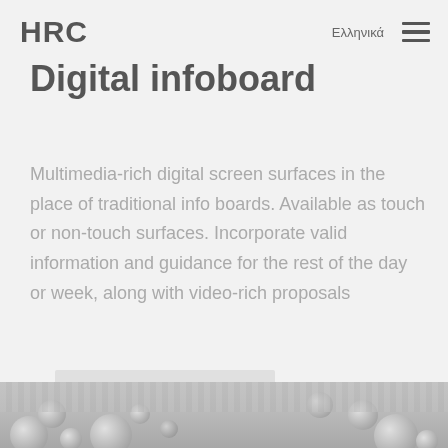HRC  Ελληνικά ☰
Digital infoboard
Multimedia-rich digital screen surfaces in the place of traditional info boards. Available as touch or non-touch surfaces. Incorporate valid information and guidance for the rest of the day or week, along with video-rich proposals
discover more >
[Figure (photo): Bottom partial photo showing decorative spheres/balloons in a grey-scale interior setting]